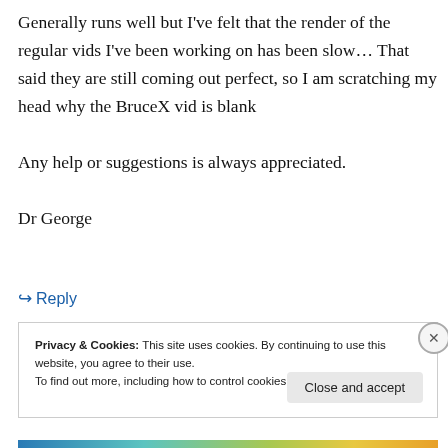Generally runs well but I've felt that the render of the regular vids I've been working on has been slow… That said they are still coming out perfect, so I am scratching my head why the BruceX vid is blank

Any help or suggestions is always appreciated.

Dr George
↳ Reply
Privacy & Cookies: This site uses cookies. By continuing to use this website, you agree to their use.
To find out more, including how to control cookies, see here: Cookie Policy
Close and accept